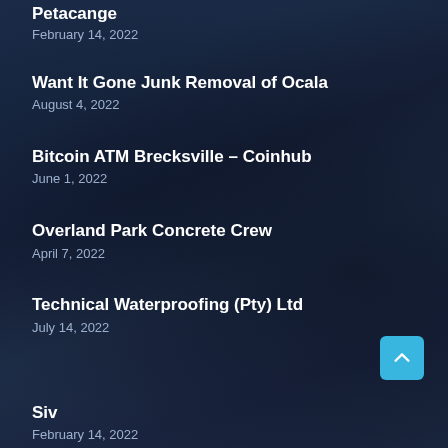Petacange
February 14, 2022
Want It Gone Junk Removal of Ocala
August 4, 2022
Bitcoin ATM Brecksville – Coinhub
June 1, 2022
Overland Park Concrete Crew
April 7, 2022
Technical Waterproofing (Pty) Ltd
July 14, 2022
Siv
February 14, 2022